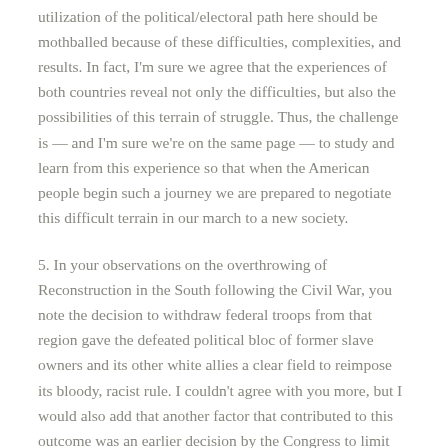utilization of the political/electoral path here should be mothballed because of these difficulties, complexities, and results. In fact, I'm sure we agree that the experiences of both countries reveal not only the difficulties, but also the possibilities of this terrain of struggle. Thus, the challenge is — and I'm sure we're on the same page — to study and learn from this experience so that when the American people begin such a journey we are prepared to negotiate this difficult terrain in our march to a new society.
5. In your observations on the overthrowing of Reconstruction in the South following the Civil War, you note the decision to withdraw federal troops from that region gave the defeated political bloc of former slave owners and its other white allies a clear field to reimpose its bloody, racist rule. I couldn't agree with you more, but I would also add that another factor that contributed to this outcome was an earlier decision by the Congress to limit the